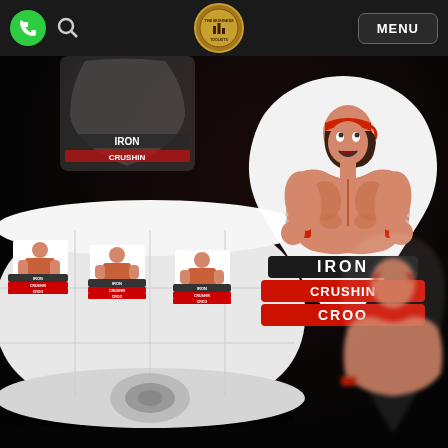Navigation bar with phone button, search icon, logo badge, and MENU button
[Figure (photo): Product photo of Iron Crushin Croo branded stickers — a roll of square stickers on white label backing (lower left), a large die-cut sticker of a muscular warrior character with 'IRON CRUSHIN CROO' text (center-right), a partial sticker in upper left, and a partial character sticker in lower right, all on a dark/black background.]